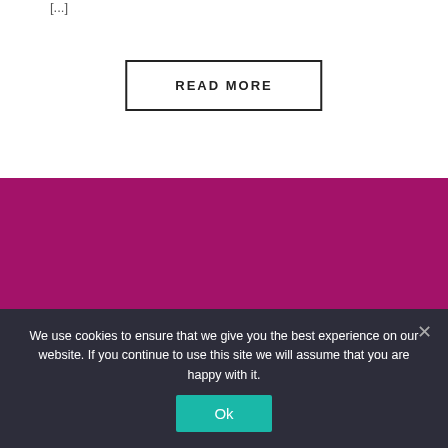[...]
READ MORE
[Figure (other): Solid magenta/dark pink rectangular block, decorative background element]
We use cookies to ensure that we give you the best experience on our website. If you continue to use this site we will assume that you are happy with it.
Ok